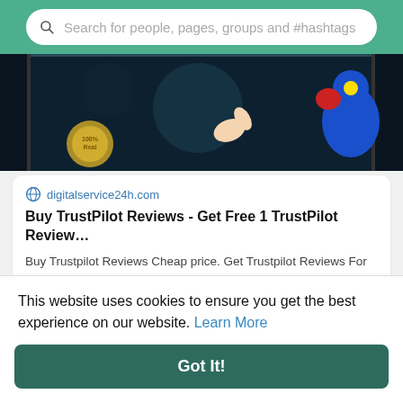Search for people, pages, groups and #hashtags
[Figure (screenshot): Dark background banner image with a thumbs up gesture and cartoon character on the right side, partially visible.]
digitalservice24h.com
Buy TrustPilot Reviews - Get Free 1 TrustPilot Review...
Buy Trustpilot Reviews Cheap price. Get Trustpilot Reviews For Sell, 5 Star, Top Quality trust pilot review USA UK Real...
licaje6650
This website uses cookies to ensure you get the best experience on our website. Learn More
Got It!